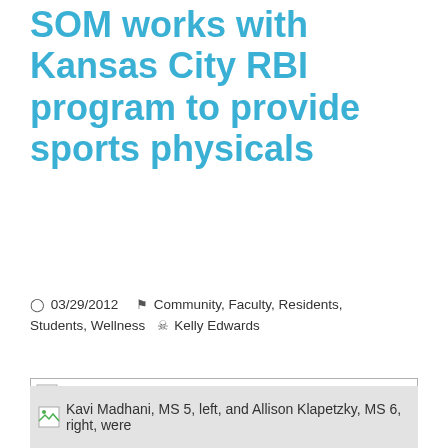SOM works with Kansas City RBI program to provide sports physicals
03/29/2012   Community, Faculty, Residents, Students, Wellness   Kelly Edwards
[Figure (photo): Broken image placeholder at top of article]
Kavi Madhani, MS 5, left, and Allison Klapetzky, MS 6, right, were